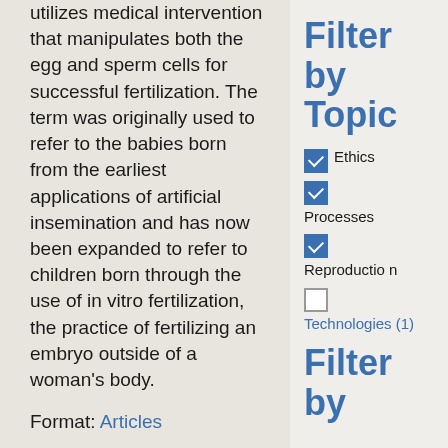utilizes medical intervention that manipulates both the egg and sperm cells for successful fertilization. The term was originally used to refer to the babies born from the earliest applications of artificial insemination and has now been expanded to refer to children born through the use of in vitro fertilization, the practice of fertilizing an embryo outside of a woman's body.
Format: Articles
Subject: Processes, Ethics, Reproduction
Filter by Topic
Ethics (checked)
Processes (checked)
Reproduction (checked)
Technologies (1) (unchecked)
Filter by